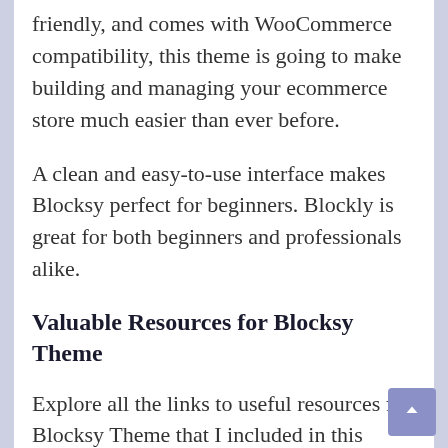friendly, and comes with WooCommerce compatibility, this theme is going to make building and managing your ecommerce store much easier than ever before.
A clean and easy-to-use interface makes Blocksy perfect for beginners. Blockly is great for both beginners and professionals alike.
Valuable Resources for Blocksy Theme
Explore all the links to useful resources for Blocksy Theme that I included in this section in order to make it easy for you to find everything important in one single place.